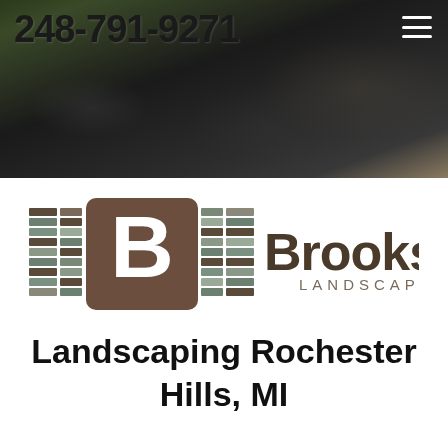[Figure (photo): Dark asphalt/pavement background with green grass at top left, serving as hero banner image]
248-791-9271
[Figure (logo): Brookstone Landscaping logo featuring a brown square with white letter B flanked by horizontal brick-pattern bars in brown, gray, and tan colors, with 'Brookstone LANDSCAPING' text in dark brown]
Landscaping Rochester Hills, MI